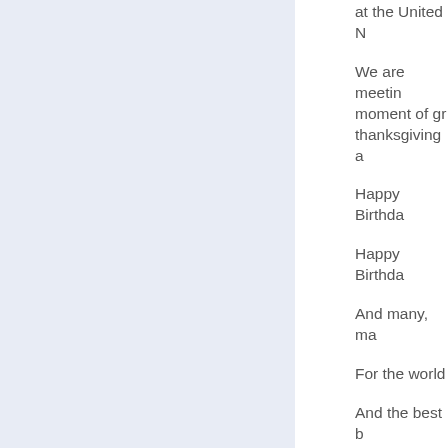[Figure (other): Light blue-grey rectangular panel on the left side of the page]
at the United N
We are meetin moment of gr thanksgiving a
Happy Birthda
Happy Birthda
And many, ma
For the world
And the best b ourselves to s we will surely to be agents o
Then, from inc and from natio